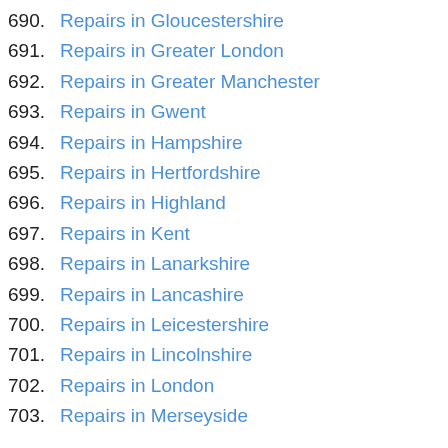690. Repairs in Gloucestershire
691. Repairs in Greater London
692. Repairs in Greater Manchester
693. Repairs in Gwent
694. Repairs in Hampshire
695. Repairs in Hertfordshire
696. Repairs in Highland
697. Repairs in Kent
698. Repairs in Lanarkshire
699. Repairs in Lancashire
700. Repairs in Leicestershire
701. Repairs in Lincolnshire
702. Repairs in London
703. Repairs in Merseyside